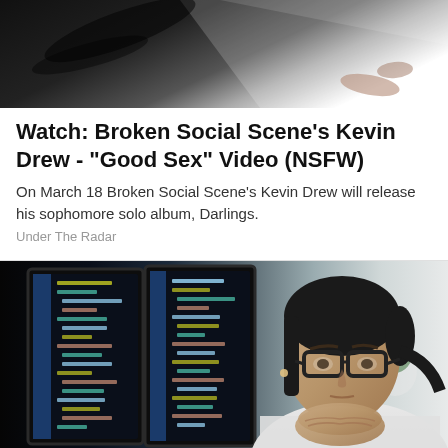[Figure (photo): Abstract dark and light image showing hands against a white background, used as article thumbnail]
Watch: Broken Social Scene's Kevin Drew - "Good Sex" Video (NSFW)
On March 18 Broken Social Scene's Kevin Drew will release his sophomore solo album, Darlings.
Under The Radar
[Figure (photo): Woman with glasses and dark hair pulled back, wearing a white turtleneck sweater, sitting at a desk looking at computer monitors displaying code]